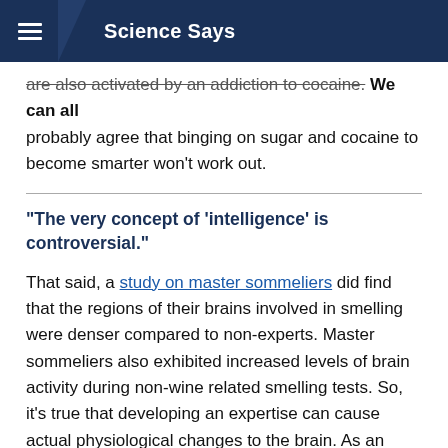Science Says
are also activated by an addiction to cocaine. We can all probably agree that binging on sugar and cocaine to become smarter won't work out.
"The very concept of 'intelligence' is controversial."
That said, a study on master sommeliers did find that the regions of their brains involved in smelling were denser compared to non-experts. Master sommeliers also exhibited increased levels of brain activity during non-wine related smelling tests. So, it's true that developing an expertise can cause actual physiological changes to the brain. As an expert in a particular field, your brain structure could become specialized in a similar way, but